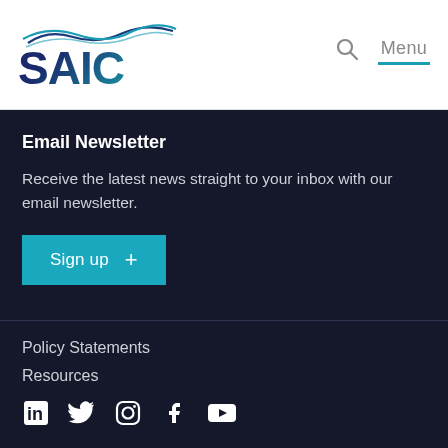[Figure (logo): SAIC company logo with wave design above the text]
Email Newsletter
Receive the latest news straight to your inbox with our email newsletter.
Sign up +
Policy Statements
Resources
[Figure (other): Social media icons: LinkedIn, Twitter, Instagram, Facebook, YouTube]